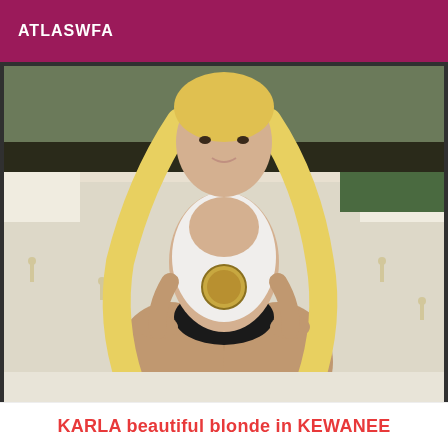ATLASWFA
[Figure (photo): A blonde woman wearing a white tank top and dark underwear, posing in front of a white bed in a room with green decor.]
KARLA beautiful blonde in KEWANEE